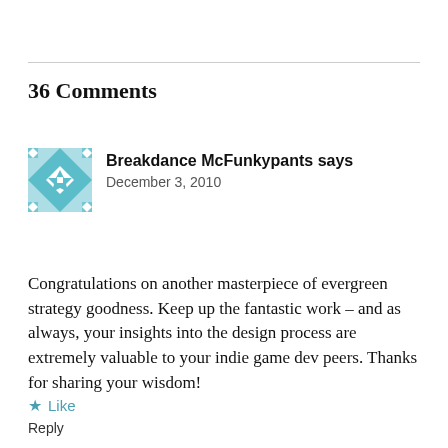36 Comments
[Figure (illustration): Teal and white geometric quilt-pattern avatar for user Breakdance McFunkypants]
Breakdance McFunkypants says
December 3, 2010
Congratulations on another masterpiece of evergreen strategy goodness. Keep up the fantastic work – and as always, your insights into the design process are extremely valuable to your indie game dev peers. Thanks for sharing your wisdom!
★  Like
Reply